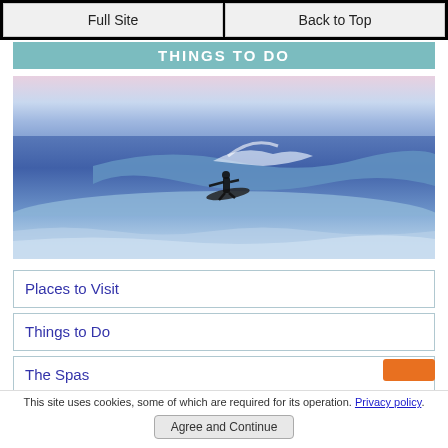Full Site | Back to Top
THINGS TO DO
[Figure (photo): A surfer riding a wave in blue ocean water with a pink and blue sky at sunset or dawn]
Places to Visit
Things to Do
The Spas
This site uses cookies, some of which are required for its operation. Privacy policy.
Agree and Continue